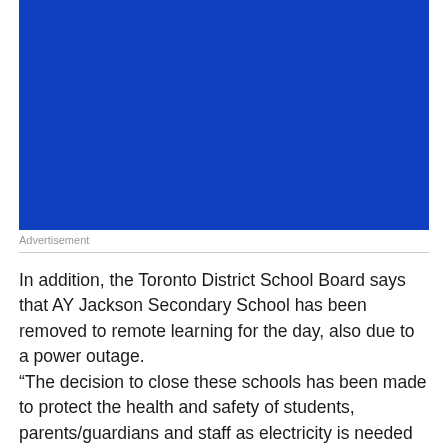[Figure (other): Blue advertisement block placeholder]
Advertisement
In addition, the Toronto District School Board says that AY Jackson Secondary School has been removed to remote learning for the day, also due to a power outage.
“The decision to close these schools has been made to protect the health and safety of students, parents/guardians and staff as electricity is needed to safely operate a school,” the Durham board said in a statement